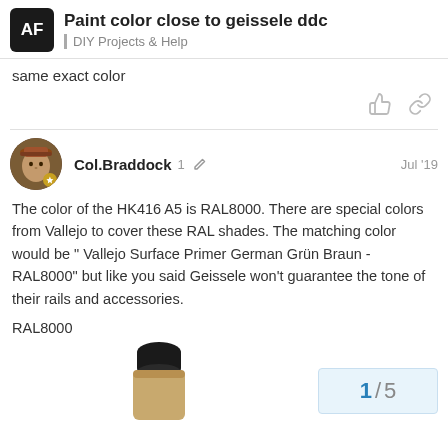Paint color close to geissele ddc | DIY Projects & Help
same exact color
Col.Braddock  1  Jul '19
The color of the HK416 A5 is RAL8000. There are special colors from Vallejo to cover these RAL shades. The matching color would be " Vallejo Surface Primer German Grün Braun - RAL8000" but like you said Geissele won't guarantee the tone of their rails and accessories.
RAL8000
[Figure (photo): Vallejo paint bottle, dark cap, tan/brown paint bottle body, partially cropped at bottom]
1 / 5